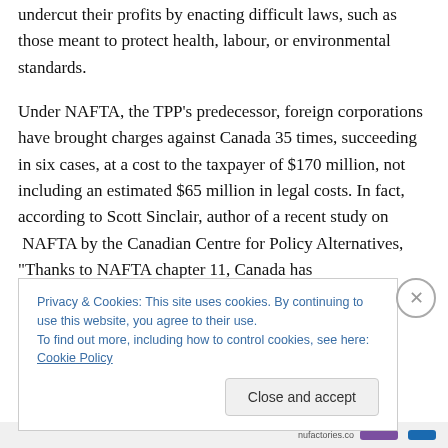undercut their profits by enacting difficult laws, such as those meant to protect health, labour, or environmental standards.
Under NAFTA, the TPP's predecessor, foreign corporations have brought charges against Canada 35 times, succeeding in six cases, at a cost to the taxpayer of $170 million, not including an estimated $65 million in legal costs. In fact, according to Scott Sinclair, author of a recent study on  NAFTA by the Canadian Centre for Policy Alternatives, “Thanks to NAFTA chapter 11, Canada has
Privacy & Cookies: This site uses cookies. By continuing to use this website, you agree to their use.
To find out more, including how to control cookies, see here: Cookie Policy
Close and accept